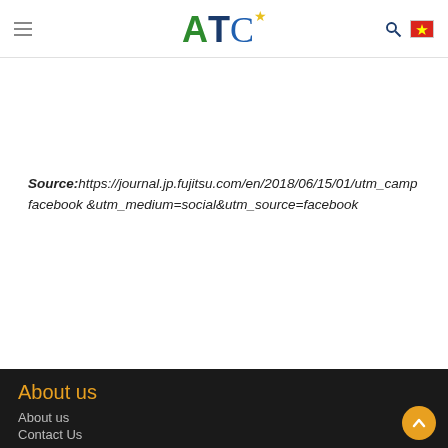ATC logo with navigation menu icon, search icon, and Vietnamese flag
Source:https://journal.jp.fujitsu.com/en/2018/06/15/01/utm_camp facebook &utm_medium=social&utm_source=facebook
About us
About us
Contact Us